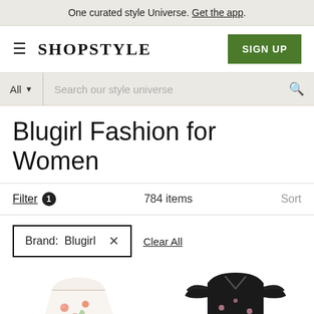One curated style Universe. Get the app.
[Figure (screenshot): ShopStyle website navigation with logo and SIGN UP button]
[Figure (screenshot): Search bar with All dropdown and search placeholder text]
Blugirl Fashion for Women
Filter 1   784 items   Sort
Brand: Blugirl X   Clear All
[Figure (photo): Two fashion product images: a floral white/pink dress on the left and a black floral dress with ruffle sleeves on the right]